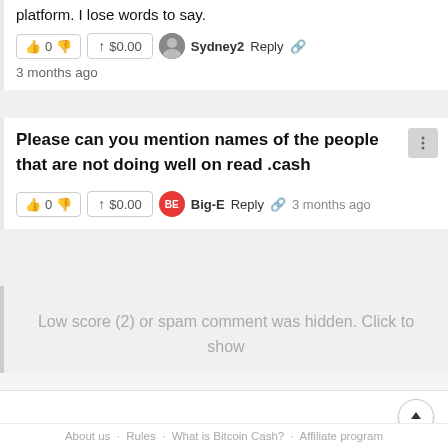platform. I lose words to say.
👍 0 👎  ↑ $0.00  Sydney2  Reply  🔗
3 months ago
Please can you mention names of the people that are not doing well on read .cash
👍 0 👎  ↑ $0.00  Big-E  Reply  🔗  3 months ago
Low score (2) or spam comment was hidden. Click to show
About us · Rules · What is Bitcoin Cash? · Affiliate program